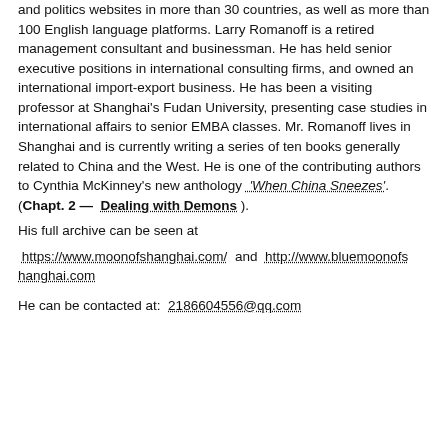and politics websites in more than 30 countries, as well as more than 100 English language platforms. Larry Romanoff is a retired management consultant and businessman. He has held senior executive positions in international consulting firms, and owned an international import-export business. He has been a visiting professor at Shanghai's Fudan University, presenting case studies in international affairs to senior EMBA classes. Mr. Romanoff lives in Shanghai and is currently writing a series of ten books generally related to China and the West. He is one of the contributing authors to Cynthia McKinney's new anthology 'When China Sneezes'. (Chapt. 2 — Dealing with Demons ).
His full archive can be seen at
https://www.moonofshanghai.com/ and http://www.bluemoonofshanghai.com
He can be contacted at: 2186604556@qq.com